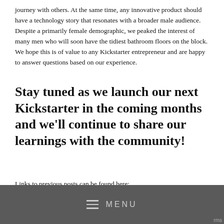journey with others. At the same time, any innovative product should have a technology story that resonates with a broader male audience. Despite a primarily female demographic, we peaked the interest of many men who will soon have the tidiest bathroom floors on the block. We hope this is of value to any Kickstarter entrepreneur and are happy to answer questions based on our experience.
Stay tuned as we launch our next Kickstarter in the coming months and we'll continue to share our learnings with the community!
Links to previous posts can be found here: